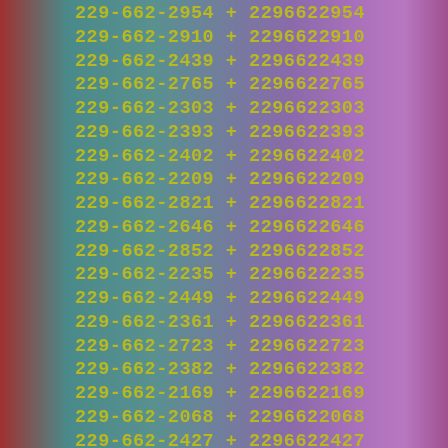229-662-2954  +  2296622954
229-662-2910  +  2296622910
229-662-2439  +  2296622439
229-662-2765  +  2296622765
229-662-2303  +  2296622303
229-662-2393  +  2296622393
229-662-2402  +  2296622402
229-662-2209  +  2296622209
229-662-2821  +  2296622821
229-662-2646  +  2296622646
229-662-2852  +  2296622852
229-662-2235  +  2296622235
229-662-2449  +  2296622449
229-662-2361  +  2296622361
229-662-2723  +  2296622723
229-662-2382  +  2296622382
229-662-2169  +  2296622169
229-662-2068  +  2296622068
229-662-2427  +  2296622427
229-662-2843  +  2296622843
229-662-2300  +  2296622300
229-662-2065  +  2296622065
229-662-2409  +  2296622409